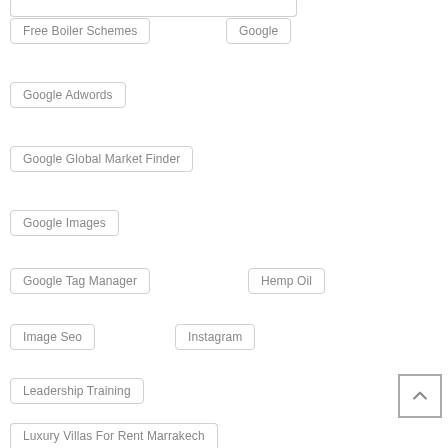Free Boiler Schemes
Google
Google Adwords
Google Global Market Finder
Google Images
Google Tag Manager
Hemp Oil
Image Seo
Instagram
Leadership Training
Luxury Villas For Rent Marrakech